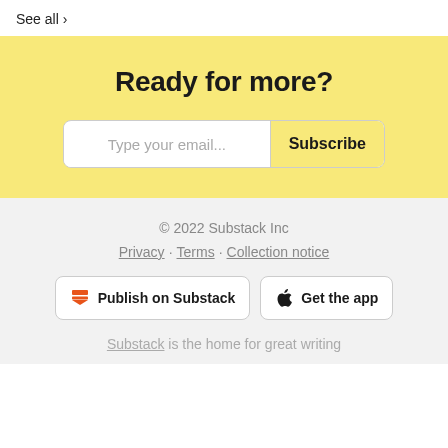See all >
Ready for more?
Type your email... Subscribe
© 2022 Substack Inc
Privacy · Terms · Collection notice
Publish on Substack
Get the app
Substack is the home for great writing